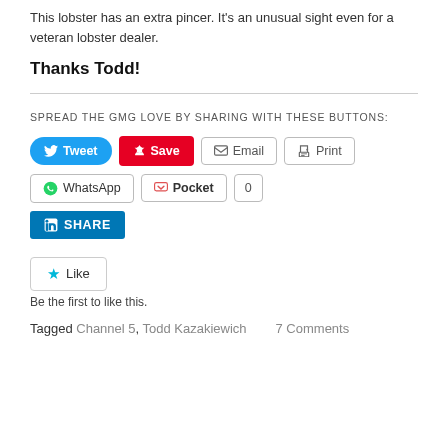This lobster has an extra pincer. It's an unusual sight even for a veteran lobster dealer.
Thanks Todd!
SPREAD THE GMG LOVE BY SHARING WITH THESE BUTTONS:
[Figure (screenshot): Social sharing buttons: Tweet, Save, Email, Print, WhatsApp, Pocket (0), LinkedIn SHARE]
[Figure (screenshot): Like button with star icon]
Be the first to like this.
Tagged Channel 5, Todd Kazakiewich 7 Comments